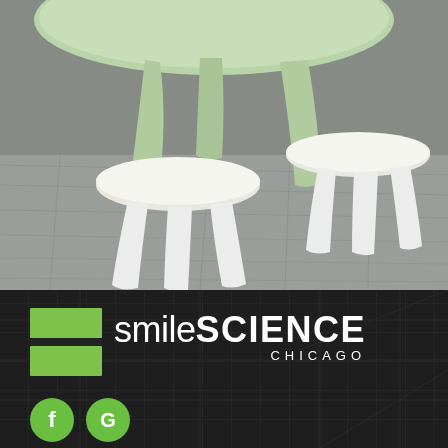[Figure (photo): Photo of child-sized furniture: a green plastic round table with white plastic mushroom stools on a grey wood floor background]
[Figure (logo): Smile Science Chicago logo: green square icon with horizontal black bar, next to text 'smile' (thin) 'SCIENCE' (bold) with 'CHICAGO' underneath, on dark background. Below are two circular social media icons (Facebook and Google) in green.]